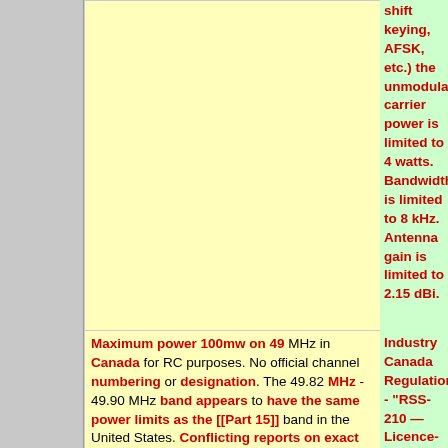shift keying, AFSK, etc.) the unmodulated carrier power is limited to 4 watts.  Bandwidth is limited to 8 kHz.  Antenna gain is limited to 2.15 dBi.
Maximum power 100mw on 49 MHz in Canada for RC purposes.  No official channel numbering or designation.  The 49.82 MHz - 49.90 MHz band appears to have the same power limits as the [[Part 15]] band in the United States.  Conflicting reports on exact power limits for R/C use in Canada.  RC reference material does indicate 100mw
Industry Canada Regulations - "RSS-210 — Licence-Exempt Radio Apparatus: